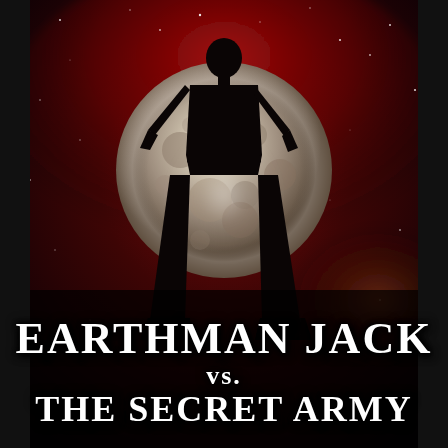[Figure (illustration): Book cover for 'Earthman Jack vs. The Secret Army'. Dark space background with deep red nebula clouds and stars. Center shows a large grey cratered moon/planet. In front of it stands a dark silhouette of a person (boy/young man) in a heroic stance with legs apart. The overall color palette is dark: black, deep red, grey.]
EARTHMAN JACK vs. THE SECRET ARMY